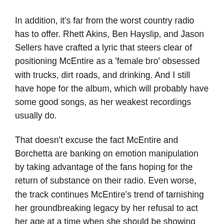In addition, it's far from the worst country radio has to offer. Rhett Akins, Ben Hayslip, and Jason Sellers have crafted a lyric that steers clear of positioning McEntire as a 'female bro' obsessed with trucks, dirt roads, and drinking. And I still have hope for the album, which will probably have some good songs, as her weakest recordings usually do.
That doesn't excuse the fact McEntire and Borchetta are banking on emotion manipulation by taking advantage of the fans hoping for the return of substance on their radio. Even worse, the track continues McEntire's trend of tarnishing her groundbreaking legacy by her refusal to act her age at a time when she should be showing the younger generations how it's done.